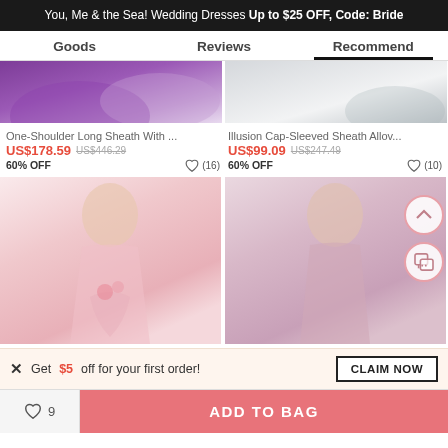You, Me & the Sea! Wedding Dresses Up to $25 OFF, Code: Bride
Goods | Reviews | Recommend
[Figure (photo): Partial view of purple/violet long dress on model]
[Figure (photo): Partial view of gray/silver dress on model]
One-Shoulder Long Sheath With ...
US$178.59  US$446.29  60% OFF  ♡ (16)
Illusion Cap-Sleeved Sheath Allov...
US$99.09  US$247.49  60% OFF  ♡ (10)
[Figure (photo): Model in pink strapless bridesmaid dress with floral detail]
[Figure (photo): Model in pink/mauve sleeveless bridesmaid dress]
Get $5 off for your first order!
CLAIM NOW
9  ADD TO BAG